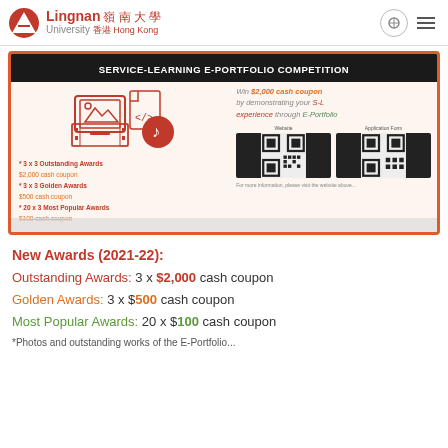Lingnan University 嶺南大學 Hong Kong
[Figure (infographic): Service-Learning E-Portfolio Competition banner with icons (web, image, music), QR codes for website and application form, competition details showing Outstanding Awards $2,000 cash coupon, Golden Awards $500 cash coupon, Most Popular Awards.]
New Awards (2021-22):
Outstanding Awards: 3 x $2,000 cash coupon
Golden Awards: 3 x $500 cash coupon
Most Popular Awards: 20 x $100 cash coupon
*Photos and outstanding works of the E-Portfolio...